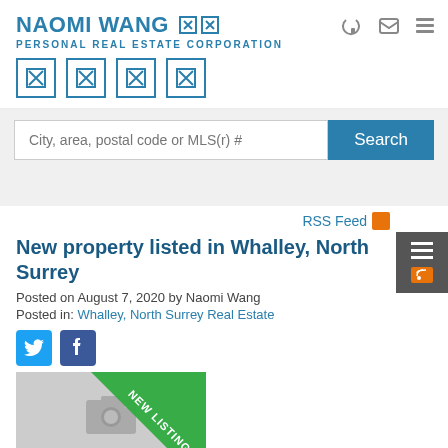NAOMI WANG 🏠🏠 PERSONAL REAL ESTATE CORPORATION
[Figure (screenshot): Search bar with placeholder text 'City, area, postal code or MLS(r) #' and a blue Search button]
RSS Feed
New property listed in Whalley, North Surrey
Posted on August 7, 2020 by Naomi Wang
Posted in: Whalley, North Surrey Real Estate
[Figure (illustration): Social share icons: Twitter and Facebook square icons]
[Figure (photo): Property listing image with a green 'NEW LISTING' banner and a camera placeholder icon]